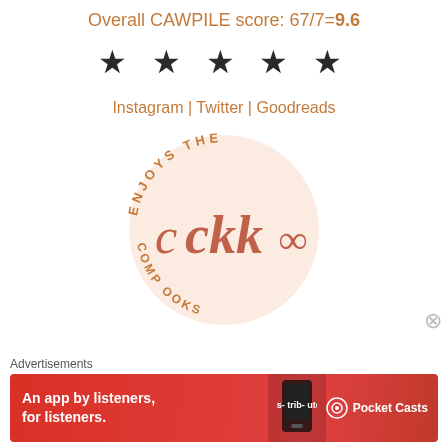Overall CAWPILE score: 67/7=9.6
[Figure (illustration): Five black star rating symbols]
Instagram | Twitter | Goodreads
[Figure (logo): Circular logo with 'ENJOYS THE' text arched on top, stylized 'ckk' script lettering in the center, and 'COMP...OOKS' text arched on the bottom, all in rose/coral color on a light peach circle background]
Advertisements
[Figure (illustration): Red banner advertisement for Pocket Casts: 'An app by listeners, for listeners.' with a phone image and Pocket Casts logo]